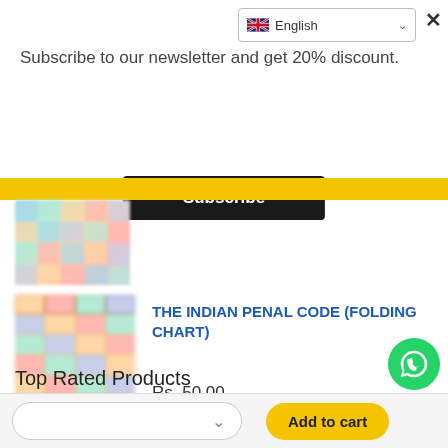Subscribe to our newsletter and get 20% discount.
Subscribe
[Figure (screenshot): Language selector dropdown showing English with UK flag]
[Figure (photo): Small blurred product chart image]
[Figure (photo): Main blurred product chart image of Indian Penal Code folding chart]
THE INDIAN PENAL CODE (FOLDING CHART)
Rs. 50.00
Top Rated Products
Add to cart